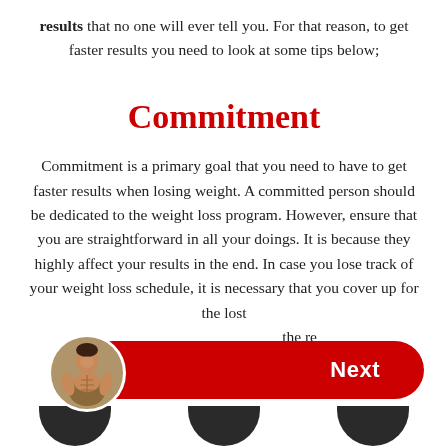results that no one will ever tell you. For that reason, to get faster results you need to look at some tips below;
Commitment
Commitment is a primary goal that you need to have to get faster results when losing weight. A committed person should be dedicated to the weight loss program. However, ensure that you are straightforward in all your doings. It is because they highly affect your results in the end. In case you lose track of your weight loss schedule, it is necessary that you cover up for the lost [time/sessions to maintain] the re[sults]
[Figure (other): Red pill-shaped 'Next' button with a circular avatar photo of a muscular man on the left side, overlapping the button]